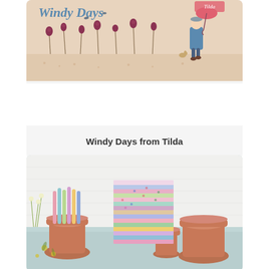[Figure (illustration): Windy Days from Tilda fabric collection banner image showing a person in a blue coat walking with an umbrella among stylized flowers on a beige/cream background]
Windy Days from Tilda
[Figure (photo): Photo of stacked colorful floral fabric fat quarters arranged next to terracotta flower pots and pastel colored tools on a light blue surface]